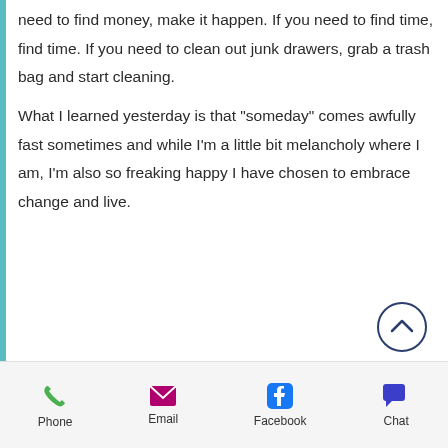need to find money, make it happen. If you need to find time, find time. If you need to clean out junk drawers, grab a trash bag and start cleaning.

What I learned yesterday is that "someday" comes awfully fast sometimes and while I'm a little bit melancholy where I am, I'm also so freaking happy I have chosen to embrace change and live.
[Figure (other): Circular scroll-to-top button with upward chevron arrow, dark blue outline on white background]
Phone  Email  Facebook  Chat